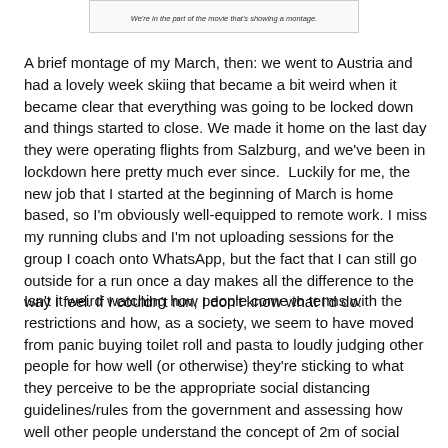[Figure (screenshot): A cropped image/screenshot with small italic text reading: We're in the part of the movie that's showing a montage.]
A brief montage of my March, then: we went to Austria and had a lovely week skiing that became a bit weird when it became clear that everything was going to be locked down and things started to close. We made it home on the last day they were operating flights from Salzburg, and we've been in lockdown here pretty much ever since.  Luckily for me, the new job that I started at the beginning of March is home based, so I'm obviously well-equipped to remote work. I miss my running clubs and I'm not uploading sessions for the group I coach onto WhatsApp, but the fact that I can still go outside for a run once a day makes all the difference to the way I feel. If I couldn't run, I don't know what I'd do.
Isn't it weird watching how people come to terms with the restrictions and how, as a society, we seem to have moved from panic buying toilet roll and pasta to loudly judging other people for how well (or otherwise) they're sticking to what they perceive to be the appropriate social distancing guidelines/rules from the government and assessing how well other people understand the concept of 2m of social